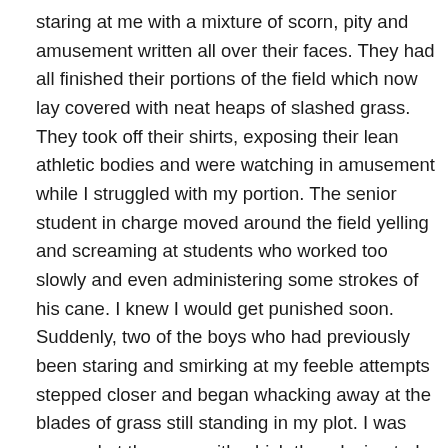staring at me with a mixture of scorn, pity and amusement written all over their faces. They had all finished their portions of the field which now lay covered with neat heaps of slashed grass. They took off their shirts, exposing their lean athletic bodies and were watching in amusement while I struggled with my portion. The senior student in charge moved around the field yelling and screaming at students who worked too slowly and even administering some strokes of his cane. I knew I would get punished soon. Suddenly, two of the boys who had previously been staring and smirking at my feeble attempts stepped closer and began whacking away at the blades of grass still standing in my plot. I was amazed at the ease with which they decimated the tall blades of grass. By the time the senior student got to my plot, there was barely any grass left, he smiled at me and moved on